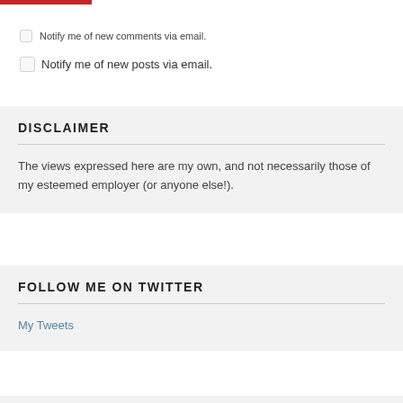[Figure (other): Red horizontal bar at top of page]
Notify me of new comments via email.
Notify me of new posts via email.
DISCLAIMER
The views expressed here are my own, and not necessarily those of my esteemed employer (or anyone else!).
FOLLOW ME ON TWITTER
My Tweets